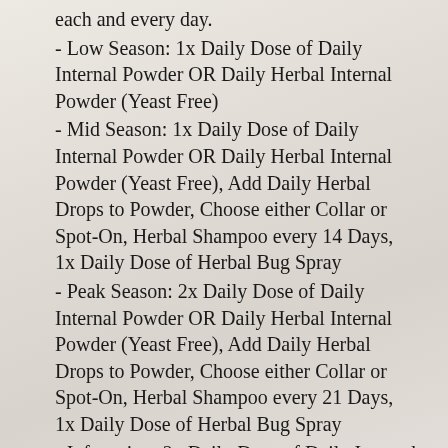each and every day.
- Low Season: 1x Daily Dose of Daily Internal Powder OR Daily Herbal Internal Powder (Yeast Free)
- Mid Season: 1x Daily Dose of Daily Internal Powder OR Daily Herbal Internal Powder (Yeast Free), Add Daily Herbal Drops to Powder, Choose either Collar or Spot-On, Herbal Shampoo every 14 Days, 1x Daily Dose of Herbal Bug Spray
- Peak Season: 2x Daily Dose of Daily Internal Powder OR Daily Herbal Internal Powder (Yeast Free), Add Daily Herbal Drops to Powder, Choose either Collar or Spot-On, Herbal Shampoo every 21 Days, 1x Daily Dose of Herbal Bug Spray
- Infestation: 2x Daily Dose of Daily Internal Powder OR Daily Herbal Internal Powder (Yeast Free), Add Daily Herbal Drops to Powder, Use both Collar and Spot-On, 1x Daily Dose of Herbal Bug Spray, 1x Week Herbal Topical Powder